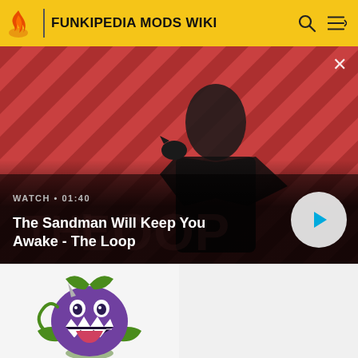FUNKIPEDIA MODS WIKI
[Figure (screenshot): Video banner showing a dark-clothed man with a crow on his shoulder against a red and dark diagonal striped background. Text reads WATCH • 01:40, The Sandman Will Keep You Awake - The Loop, with a play button on the right and a close X button top right.]
[Figure (illustration): A cartoon purple venus flytrap monster character with green leaves and a green tongue, pixel art style, on light background.]
[Figure (illustration): A sprite sheet of a dark purple/blue venus flytrap plant monster character repeated in a grid pattern on light background.]